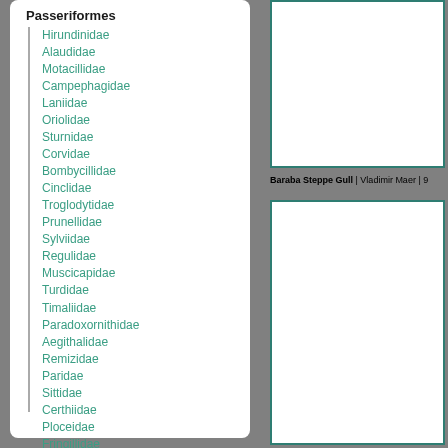Passeriformes
Hirundinidae
Alaudidae
Motacillidae
Campephagidae
Laniidae
Oriolidae
Sturnidae
Corvidae
Bombycillidae
Cinclidae
Troglodytidae
Prunellidae
Sylviidae
Regulidae
Muscicapidae
Turdidae
Timaliidae
Paradoxornithidae
Aegithalidae
Remizidae
Paridae
Sittidae
Certhiidae
Ploceidae
Fringillidae
Emberizidae
[Figure (photo): Photo of Baraba Steppe Gull, top image]
Baraba Steppe Gull | Vladimir Maer | 9
[Figure (photo): Photo of Baraba Steppe Gull, bottom image]